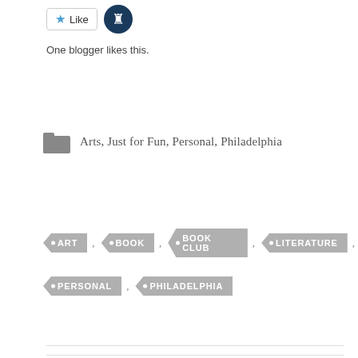[Figure (other): Like button with blue star icon and a blogger avatar image]
One blogger likes this.
Arts, Just for Fun, Personal, Philadelphia
ART , BOOK , BOOK CLUB , LITERATURE , PERSONAL , PHILADELPHIA
← just a heads up for all you blog regulars...
a Jesuit Priest on Evolution. Enjoy. →